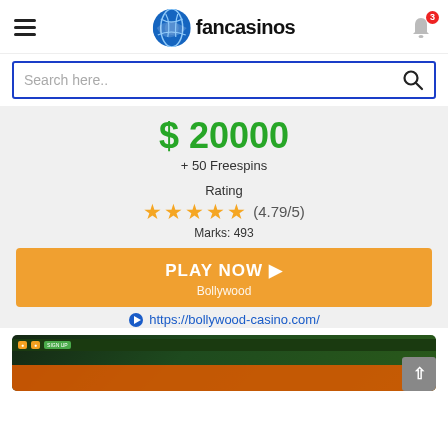fancasinos
Search here..
$ 20000
+ 50 Freespins
Rating
(4.79/5)
Marks: 493
PLAY NOW Bollywood
https://bollywood-casino.com/
[Figure (screenshot): Screenshot of Bollywood Casino website preview showing dark green background with casino interface elements in orange and green colors.]